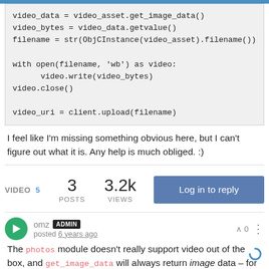video_data = video_asset.get_image_data()
video_bytes = video_data.getvalue()
filename = str(ObjCInstance(video_asset).filename())

with open(filename, 'wb') as video:
      video.write(video_bytes)
video.close()

video_uri = client.upload(filename)
I feel like I'm missing something obvious here, but I can't figure out what it is. Any help is much obliged. :)
VIDEO 5   3 POSTS   3.2k VIEWS   Log in to reply
omz ADMIN posted 6 years ago   ^ 0
The photos module doesn't really support video out of the box, and get_image_data will always return image data – for videos, it